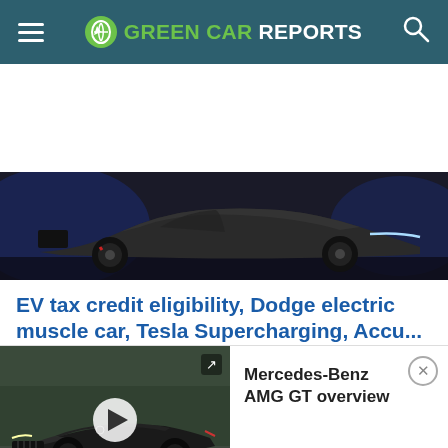GREEN CAR REPORTS
[Figure (photo): Dark sports/muscle car concept vehicle viewed from front-left angle, dark background with blue lighting accents]
EV tax credit eligibility, Dodge electric muscle car, Tesla Supercharging, Acura...
[Figure (screenshot): Video thumbnail of a dark Mercedes-Benz AMG GT 4-door coupe driving on a road, with play button overlay and title 'Mercedes-Benz AMG GT overview']